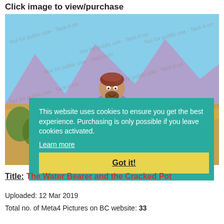Click image to view/purchase
[Figure (illustration): Illustrated image of a water bearer carrying two clay pots on a long pole across his shoulders, dressed in traditional Middle Eastern robes with a purple/lavender outer garment, set against a desert landscape with mountains and blue sky. Image has watermark overlay text repeated across it.]
This website uses cookies to ensure you get the best experience. Purchasing is only possible if you leave cookies activated.
Learn more
Got it!
Title: The Water Bearer and the Cracked Pot
Uploaded: 12 Mar 2019
Total no. of Meta4 Pictures on BC website: 33